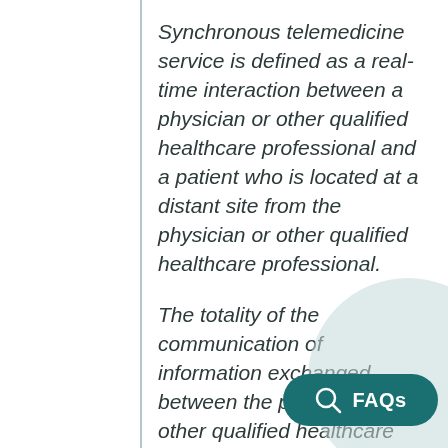Synchronous telemedicine service is defined as a real-time interaction between a physician or other qualified healthcare professional and a patient who is located at a distant site from the physician or other qualified healthcare professional.
The totality of the communication of information exchanged between the physician or other qualified healthcare professional and the patient during the course of the synchronous telemedicine service must be of an amount and